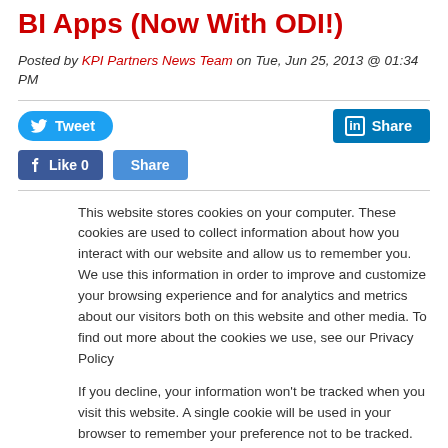BI Apps (Now With ODI!)
Posted by KPI Partners News Team on Tue, Jun 25, 2013 @ 01:34 PM
This website stores cookies on your computer. These cookies are used to collect information about how you interact with our website and allow us to remember you. We use this information in order to improve and customize your browsing experience and for analytics and metrics about our visitors both on this website and other media. To find out more about the cookies we use, see our Privacy Policy
If you decline, your information won't be tracked when you visit this website. A single cookie will be used in your browser to remember your preference not to be tracked.